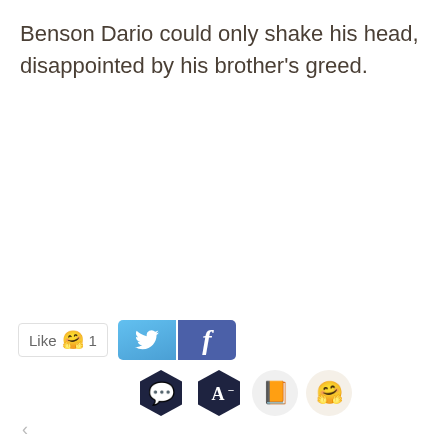Benson Dario could only shake his head, disappointed by his brother's greed.
[Figure (screenshot): UI bar with Like button showing hugging face emoji and count 1, Twitter and Facebook share buttons, and four icon buttons: chat bubble hexagon, font size hexagon, orange book circle, and hugging face emoji circle]